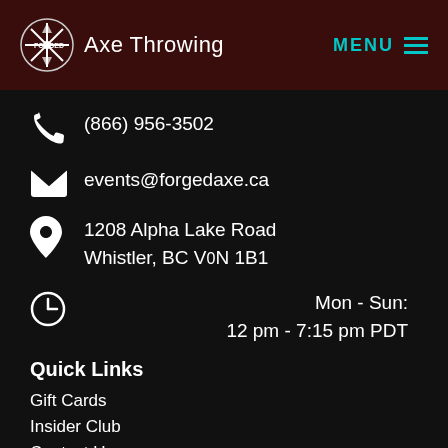Forged Axe Throwing | MENU
(866) 956-3502
events@forgedaxe.ca
1208 Alpha Lake Road
Whistler, BC V0N 1B1
Mon - Sun:
12 pm - 7:15 pm PDT
Quick Links
Gift Cards
Insider Club
Contact Us
About Us